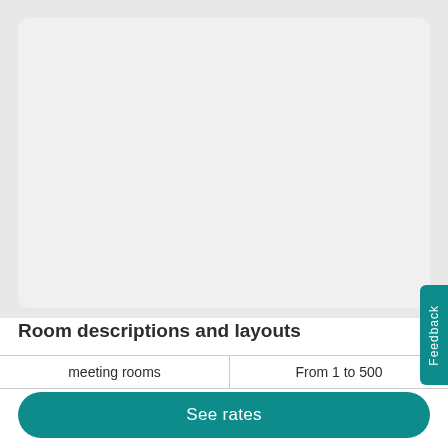[Figure (photo): Large image placeholder area with light gray background and rounded corners]
Room descriptions and layouts
| meeting rooms | From 1 to 500 |
See rates